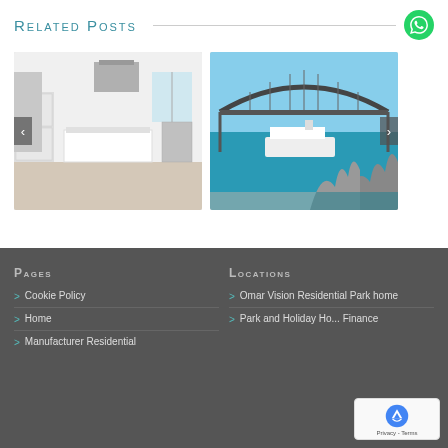Related Posts
[Figure (photo): Modern white kitchen interior with island and stainless steel hood]
[Figure (photo): Sydney Harbour Bridge and Opera House with cruise ship]
Pages
Cookie Policy
Home
Manufacturer Residential
Locations
Omar Vision Residential Park home
Park and Holiday Ho... Finance